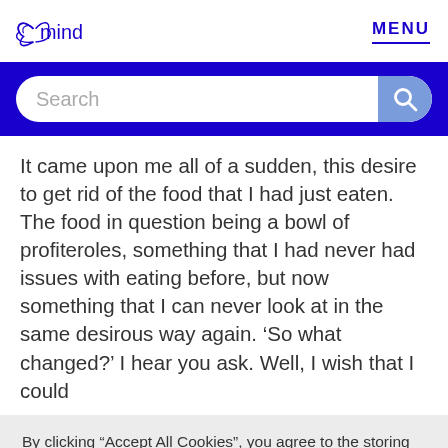mind MENU
[Figure (screenshot): Search bar with blue background and magnifying glass icon]
It came upon me all of a sudden, this desire to get rid of the food that I had just eaten. The food in question being a bowl of profiteroles, something that I had never had issues with eating before, but now something that I can never look at in the same desirous way again. ‘So what changed?’ I hear you ask. Well, I wish that I could
By clicking “Accept All Cookies”, you agree to the storing of cookies on your device to enhance site navigation, analyse site usage, and assist in our marketing efforts. This will include third party access to browsing data.
Manage my settings | Accept all cookies